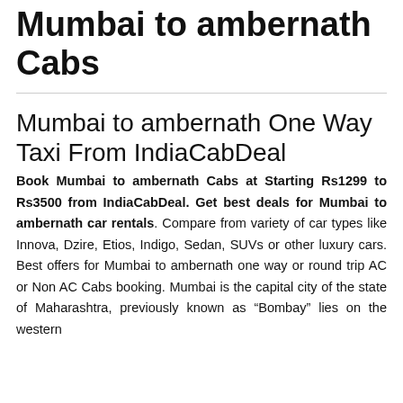Mumbai to ambernath Cabs
Mumbai to ambernath One Way Taxi From IndiaCabDeal
Book Mumbai to ambernath Cabs at Starting Rs1299 to Rs3500 from IndiaCabDeal. Get best deals for Mumbai to ambernath car rentals. Compare from variety of car types like Innova, Dzire, Etios, Indigo, Sedan, SUVs or other luxury cars. Best offers for Mumbai to ambernath one way or round trip AC or Non AC Cabs booking. Mumbai is the capital city of the state of Maharashtra, previously known as “Bombay” lies on the western